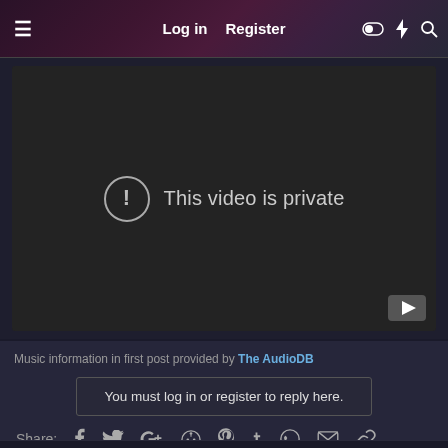≡  Log in  Register
[Figure (screenshot): Video player showing 'This video is private' message with exclamation icon and YouTube button in bottom right]
Music information in first post provided by The AudioDB
You must log in or register to reply here.
Share: